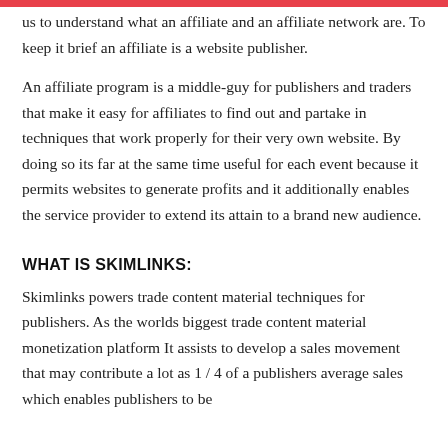us to understand what an affiliate and an affiliate network are. To keep it brief an affiliate is a website publisher.
An affiliate program is a middle-guy for publishers and traders that make it easy for affiliates to find out and partake in techniques that work properly for their very own website. By doing so its far at the same time useful for each event because it permits websites to generate profits and it additionally enables the service provider to extend its attain to a brand new audience.
WHAT IS SKIMLINKS:
Skimlinks powers trade content material techniques for publishers. As the worlds biggest trade content material monetization platform It assists to develop a sales movement that may contribute a lot as 1 / 4 of a publishers average sales which enables publishers to be